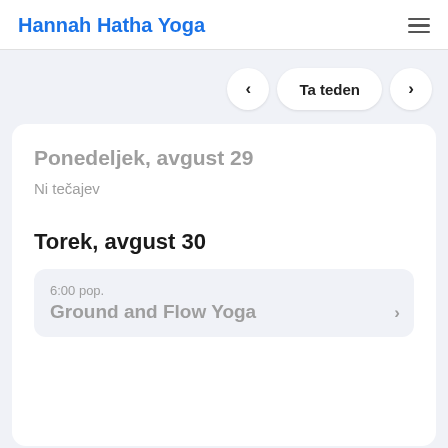Hannah Hatha Yoga
< Ta teden >
Ponedeljek, avgust 29
Ni tečajev
Torek, avgust 30
6:00 pop.
Ground and Flow Yoga